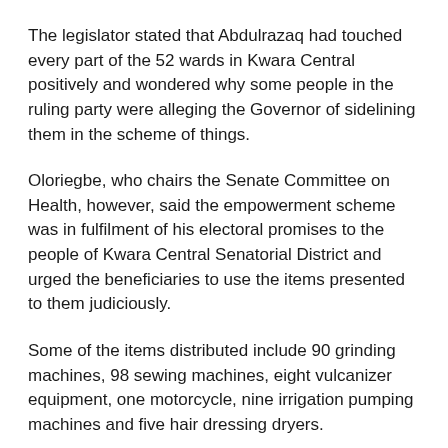The legislator stated that Abdulrazaq had touched every part of the 52 wards in Kwara Central positively and wondered why some people in the ruling party were alleging the Governor of sidelining them in the scheme of things.
Oloriegbe, who chairs the Senate Committee on Health, however, said the empowerment scheme was in fulfilment of his electoral promises to the people of Kwara Central Senatorial District and urged the beneficiaries to use the items presented to them judiciously.
Some of the items distributed include 90 grinding machines, 98 sewing machines, eight vulcanizer equipment, one motorcycle, nine irrigation pumping machines and five hair dressing dryers.